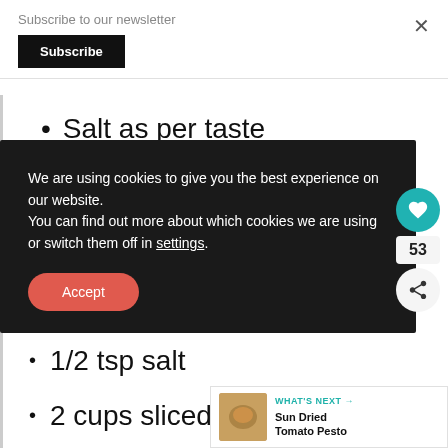Subscribe to our newsletter
Subscribe
×
Salt as per taste
ns
We are using cookies to give you the best experience on our website.
You can find out more about which cookies we are using or switch them off in settings.
Accept
1 tsp crushed black pepper
1/2 tsp salt
2 cups sliced portobello
WHAT'S NEXT → Sun Dried Tomato Pesto